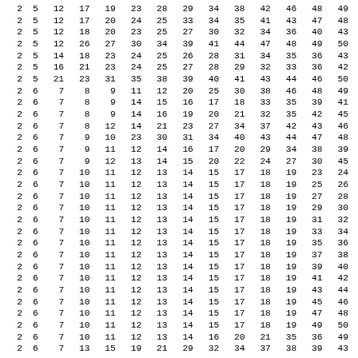| 2 | 5 | 12 | 17 | 19 | 23 | 28 | 29 | 34 | 38 | 42 | 46 | 48 | 49 |
| 2 | 5 | 12 | 17 | 20 | 24 | 25 | 33 | 34 | 35 | 41 | 43 | 47 | 48 |
| 2 | 5 | 12 | 18 | 20 | 23 | 25 | 27 | 30 | 32 | 34 | 36 | 40 | 43 |
| 2 | 5 | 12 | 26 | 27 | 30 | 34 | 39 | 41 | 44 | 47 | 48 | 49 | 50 |
| 2 | 5 | 14 | 18 | 23 | 24 | 25 | 26 | 28 | 31 | 34 | 35 | 36 | 43 |
| 2 | 5 | 16 | 21 | 23 | 24 | 25 | 27 | 28 | 29 | 32 | 33 | 36 | 42 |
| 2 | 5 | 21 | 23 | 31 | 35 | 38 | 39 | 40 | 41 | 43 | 44 | 46 | 50 |
| 2 | 6 | 7 | 8 | 9 | 11 | 12 | 20 | 25 | 30 | 38 | 46 | 48 | 49 |
| 2 | 6 | 7 | 8 | 9 | 14 | 15 | 16 | 17 | 18 | 33 | 35 | 39 | 41 |
| 2 | 6 | 7 | 8 | 9 | 14 | 16 | 19 | 20 | 21 | 32 | 35 | 42 | 45 |
| 2 | 6 | 7 | 8 | 12 | 14 | 21 | 23 | 27 | 34 | 37 | 42 | 43 | 46 |
| 2 | 6 | 7 | 9 | 10 | 23 | 30 | 31 | 34 | 40 | 43 | 44 | 47 | 48 |
| 2 | 6 | 7 | 9 | 11 | 12 | 14 | 16 | 17 | 20 | 29 | 34 | 38 | 39 |
| 2 | 6 | 7 | 9 | 12 | 13 | 14 | 15 | 20 | 22 | 24 | 27 | 30 | 45 |
| 2 | 6 | 7 | 10 | 11 | 12 | 13 | 14 | 15 | 17 | 18 | 19 | 23 | 24 |
| 2 | 6 | 7 | 10 | 11 | 12 | 13 | 14 | 15 | 17 | 18 | 19 | 25 | 26 |
| 2 | 6 | 7 | 10 | 11 | 12 | 13 | 14 | 15 | 17 | 18 | 19 | 27 | 28 |
| 2 | 6 | 7 | 10 | 11 | 12 | 13 | 14 | 15 | 17 | 18 | 19 | 29 | 30 |
| 2 | 6 | 7 | 10 | 11 | 12 | 13 | 14 | 15 | 17 | 18 | 19 | 31 | 32 |
| 2 | 6 | 7 | 10 | 11 | 12 | 13 | 14 | 15 | 17 | 18 | 19 | 33 | 34 |
| 2 | 6 | 7 | 10 | 11 | 12 | 13 | 14 | 15 | 17 | 18 | 19 | 35 | 36 |
| 2 | 6 | 7 | 10 | 11 | 12 | 13 | 14 | 15 | 17 | 18 | 19 | 37 | 38 |
| 2 | 6 | 7 | 10 | 11 | 12 | 13 | 14 | 15 | 17 | 18 | 19 | 39 | 40 |
| 2 | 6 | 7 | 10 | 11 | 12 | 13 | 14 | 15 | 17 | 18 | 19 | 41 | 42 |
| 2 | 6 | 7 | 10 | 11 | 12 | 13 | 14 | 15 | 17 | 18 | 19 | 43 | 44 |
| 2 | 6 | 7 | 10 | 11 | 12 | 13 | 14 | 15 | 17 | 18 | 19 | 45 | 46 |
| 2 | 6 | 7 | 10 | 11 | 12 | 13 | 14 | 15 | 17 | 18 | 19 | 47 | 48 |
| 2 | 6 | 7 | 10 | 11 | 12 | 13 | 14 | 15 | 17 | 18 | 19 | 49 | 50 |
| 2 | 6 | 7 | 10 | 11 | 12 | 13 | 14 | 16 | 20 | 21 | 35 | 36 | 49 | 50 |
| 2 | 6 | 7 | 13 | 15 | 19 | 21 | 29 | 32 | 34 | 37 | 38 | 39 | 43 |